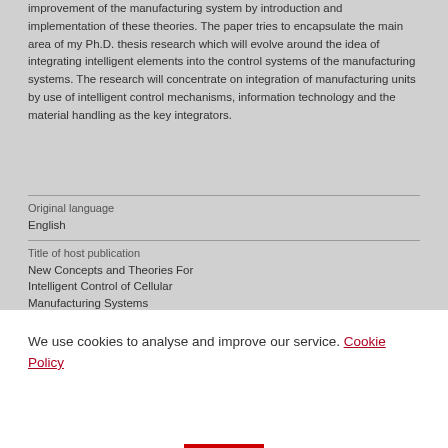improvement of the manufacturing system by introduction and implementation of these theories. The paper tries to encapsulate the main area of my Ph.D. thesis research which will evolve around the idea of integrating intelligent elements into the control systems of the manufacturing systems. The research will concentrate on integration of manufacturing units by use of intelligent control mechanisms, information technology and the material handling as the key integrators.
Original language
English
Title of host publication
New Concepts and Theories For Intelligent Control of Cellular Manufacturing Systems
We use cookies to analyse and improve our service. Cookie Policy